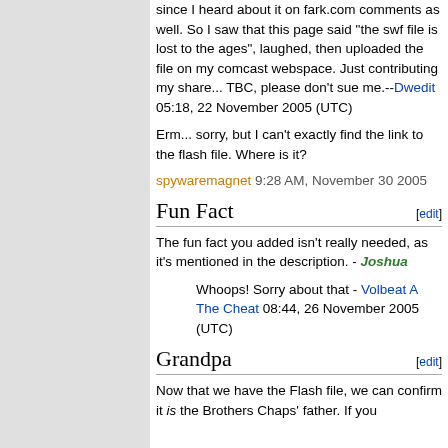since I heard about it on fark.com comments as well. So I saw that this page said "the swf file is lost to the ages", laughed, then uploaded the file on my comcast webspace. Just contributing my share... TBC, please don't sue me.--Dwedit 05:18, 22 November 2005 (UTC)
Erm... sorry, but I can't exactly find the link to the flash file. Where is it?
spywaremagnet 9:28 AM, November 30 2005
Fun Fact
The fun fact you added isn't really needed, as it's mentioned in the description. - Joshua
Whoops! Sorry about that - Volbeat A The Cheat 08:44, 26 November 2005 (UTC)
Grandpa
Now that we have the Flash file, we can confirm it is the Brothers Chaps' father. If you